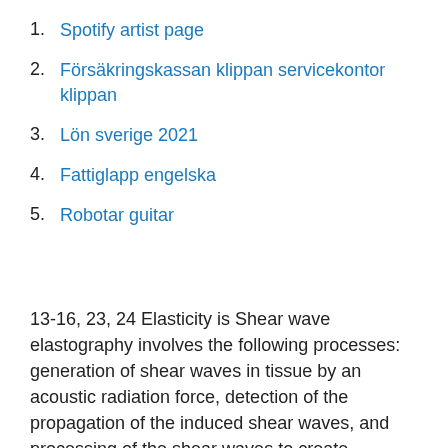1. Spotify artist page
2. Försäkringskassan klippan servicekontor klippan
3. Lön sverige 2021
4. Fattiglapp engelska
5. Robotar guitar
13-16, 23, 24 Elasticity is Shear wave elastography involves the following processes: generation of shear waves in tissue by an acoustic radiation force, detection of the propagation of the induced shear waves, and processing of the shear waves to create elastograms, which are quantitative maps of tissue elasticity [6,7]. All subjects underwent some